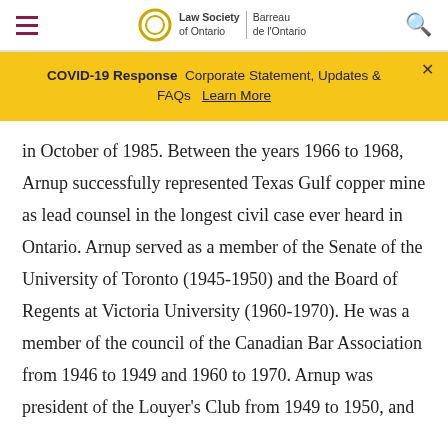Law Society of Ontario | Barreau de l'Ontario
COVID-19 Response  Corporate Statement, Updates & FAQs  Learn More
in October of 1985. Between the years 1966 to 1968, Arnup successfully represented Texas Gulf copper mine as lead counsel in the longest civil case ever heard in Ontario. Arnup served as a member of the Senate of the University of Toronto (1945-1950) and the Board of Regents at Victoria University (1960-1970). He was a member of the council of the Canadian Bar Association from 1946 to 1949 and 1960 to 1970. Arnup was president of the Lawyer's Club from 1949 to 1950, and